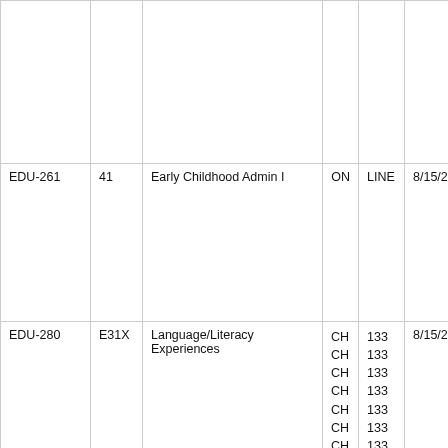| Course | Sec | Title | Bld | Rm | Start | End |
| --- | --- | --- | --- | --- | --- | --- |
|  |  |  |  |  |  |  |
| EDU-261 | 41 | Early Childhood Admin I | ON | LINE | 8/15/22 | 12/... |
| EDU-280 | E31X | Language/Literacy Experiences | CH
CH
CH
CH
CH
CH
CH
CH
ON | 133
133
133
133
133
133
133
133
LINE | 8/15/22 | 12/... |